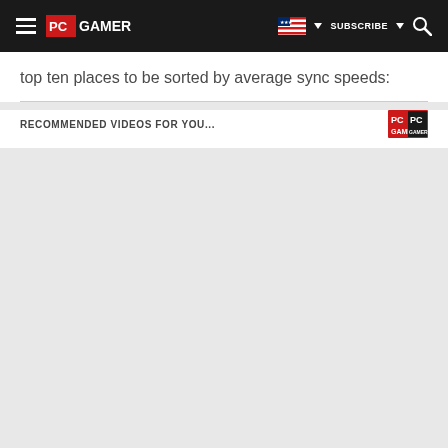PC GAMER | SUBSCRIBE
top ten places to be sorted by average sync speeds:
RECOMMENDED VIDEOS FOR YOU...